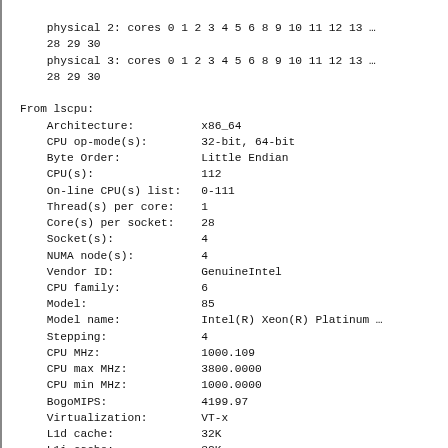physical 2: cores 0 1 2 3 4 5 6 8 9 10 11 12 13 ...
28 29 30
physical 3: cores 0 1 2 3 4 5 6 8 9 10 11 12 13 ...
28 29 30
From lscpu:
    Architecture:          x86_64
    CPU op-mode(s):        32-bit, 64-bit
    Byte Order:            Little Endian
    CPU(s):                112
    On-line CPU(s) list:   0-111
    Thread(s) per core:    1
    Core(s) per socket:    28
    Socket(s):             4
    NUMA node(s):          4
    Vendor ID:             GenuineIntel
    CPU family:            6
    Model:                 85
    Model name:            Intel(R) Xeon(R) Platinum ...
    Stepping:              4
    CPU MHz:               1000.109
    CPU max MHz:           3800.0000
    CPU min MHz:           1000.0000
    BogoMIPS:              4199.97
    Virtualization:        VT-x
    L1d cache:             32K
    L1i cache:             32K
    L2 cache:              1024K
    L3 cache:              39424K
    NUMA node0 CPU(s):     0-27